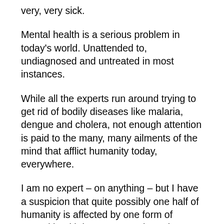very, very sick.
Mental health is a serious problem in today's world. Unattended to, undiagnosed and untreated in most instances.
While all the experts run around trying to get rid of bodily diseases like malaria, dengue and cholera, not enough attention is paid to the many, many ailments of the mind that afflict humanity today, everywhere.
I am no expert – on anything – but I have a suspicion that quite possibly one half of humanity is affected by one form of mental health issues or another – in probably every part of the world, from